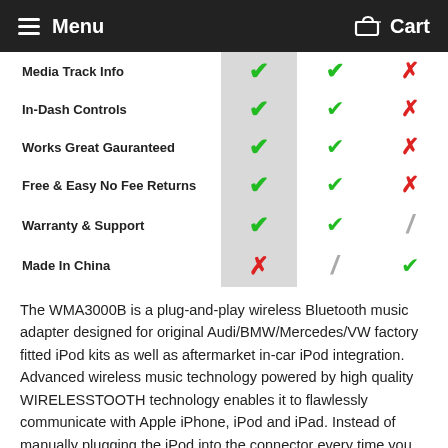Menu  Cart
| Feature | Col1 | Col2 | Col3 |
| --- | --- | --- | --- |
| Media Track Info | ✔ | ✔ | ✗ |
| In-Dash Controls | ✔ | ✔ | ✗ |
| Works Great Gauranteed | ✔ | ✔ | ✗ |
| Free & Easy No Fee Returns | ✔ | ✔ | ✗ |
| Warranty & Support | ✔ | ✔ | / |
| Made In China | ✗ | / | ✔ |
The WMA3000B is a plug-and-play wireless Bluetooth music adapter designed for original Audi/BMW/Mercedes/VW factory fitted iPod kits as well as aftermarket in-car iPod integration. Advanced wireless music technology powered by high quality WIRELESSTOOTH technology enables it to flawlessly communicate with Apple iPhone, iPod and iPad. Instead of manually plugging the iPod into the connector every time you enter the car, you instead connect our device via the built in iPod integration cable.Streams music from Android, Apple, and Windows devices. For your BMW 335d 2008 or any BMW or